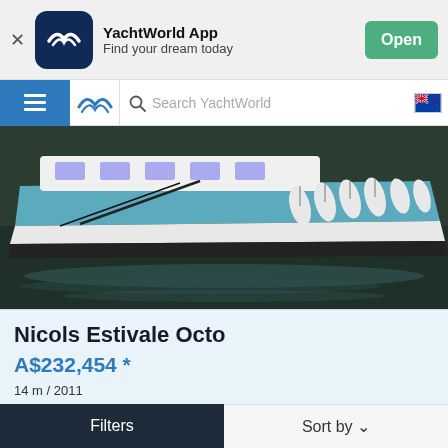[Figure (screenshot): YachtWorld App banner with logo, name, tagline and Open button]
[Figure (screenshot): YachtWorld navigation bar with hamburger menu, logo, search field, and NZ flag icon]
[Figure (photo): Photo of Nicols Estivale Octo boat moored at dock with white fenders, teal hull, reflecting in water]
Nicols Estivale Octo
A$232,454 *
14 m / 2011
LOT Valley, France
Boatshed Midi Canals
[Figure (logo): BoatshedMidiCanals.com dealer logo on dark background]
Filters    Sort by